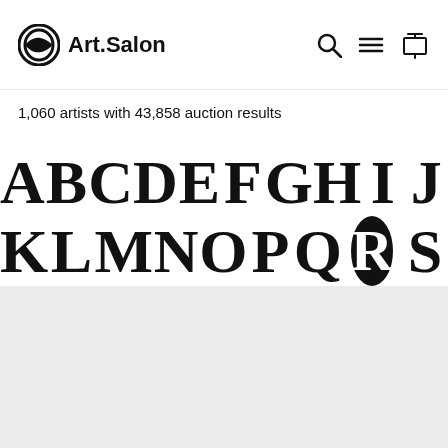Art.Salon
1,060 artists with 43,858 auction results
[Figure (other): Alphabetical navigation grid with letters A-Z. Letter R is highlighted with a black circle background (white R on black circle). Letters are large serif bold characters arranged in three rows: A B C D E F G H I J / K L M N O P Q [R] S / T U V W X Y Z]
[Figure (other): Gray content area / placeholder section at bottom of page]